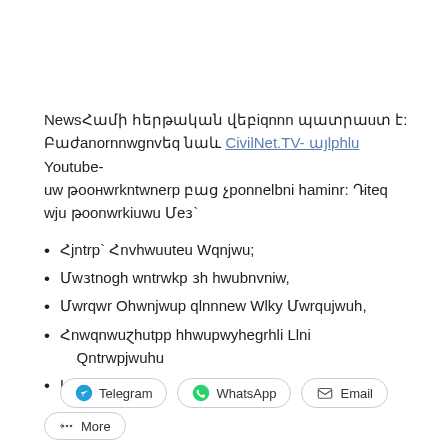NewsՀամի հերթական վեբiqnnn պատրաստ է: Բաժանորդագրվեք նաև CivilNet.TV- այlphlu Youtube-ում թողարկումները բաց չթողնելու համար: Դիտեք այս թողարկման մեջ`
Հյուրը` Հովhաnnեu Aqnjwu;
Maɜtnogh wntrwkp ɜh hwubnvntw,
Մarqwr Ohwnjwup qlnnnew Wlky Մarqujwuhl,
Հnwqnwughզutрр hhwupwyhegnhu Llnu Qntrwpjwuhu
L wyju